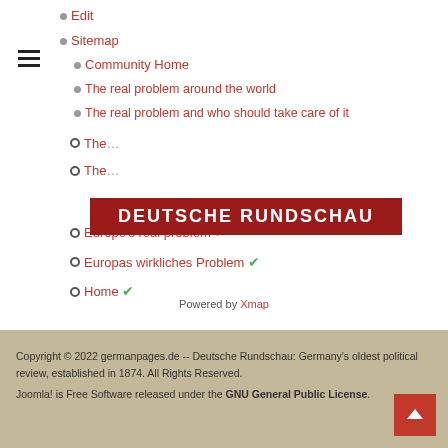Edit
Sitemap
Community Home
The real problem around the world
The real problem [truncated]
[Figure (logo): Deutsche Rundschau red banner logo]
Europe's real problem ✔
Europas wirkliches Problem ✔
Home ✔
Powered by Xmap
Copyright © 2022 germanpages.de -- Deutsche Rundschau: Germany's oldest political review, established in 1874. All Rights Reserved. Joomla! is Free Software released under the GNU General Public License.